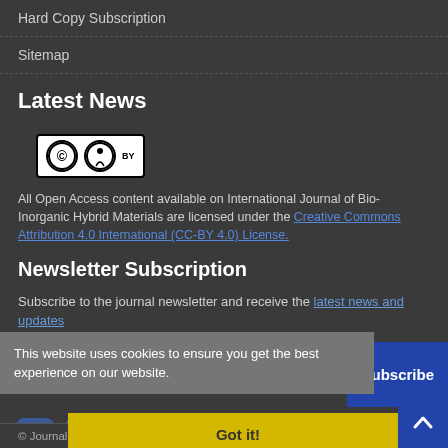Hard Copy Subscription
Sitemap
Latest News
[Figure (logo): Creative Commons BY license logo with CC and person icons]
All Open Access content available on International Journal of Bio-Inorganic Hybrid Materials are licensed under the Creative Commons Attribution 4.0 International (CC-BY 4.0) License.
Newsletter Subscription
Subscribe to the journal newsletter and receive the latest news and updates
This website uses cookies to ensure you get the best experience on our website.
Got it!
Subscribe
© Journal Management System. Powered by Sinaweb